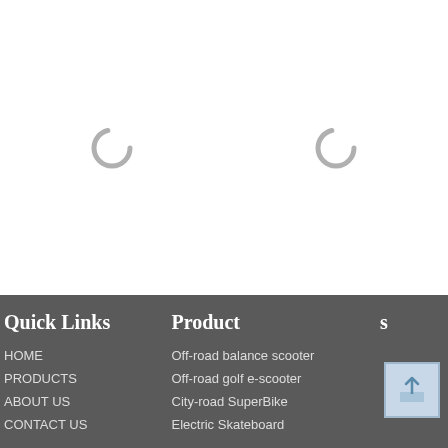[Figure (other): Two loading spinner icons (circular grey arcs) on a white background, indicating content is loading]
Quick Links
HOME
PRODUCTS
ABOUT US
CONTACT US
Product
Off-road balance scooter
Off-road golf e-scooter
City-road SuperBike
Electric Skateboard
[Figure (other): Back to top button icon with upward arrow]